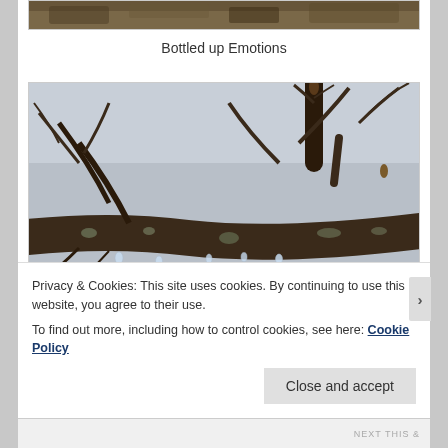[Figure (photo): Partial top portion of a nature/outdoor photo visible at the very top of the page, showing foliage or vegetation]
Bottled up Emotions
[Figure (photo): Close-up photograph of bare tree branches with water droplets hanging from them, against a grey winter sky background]
Privacy & Cookies: This site uses cookies. By continuing to use this website, you agree to their use.
To find out more, including how to control cookies, see here: Cookie Policy